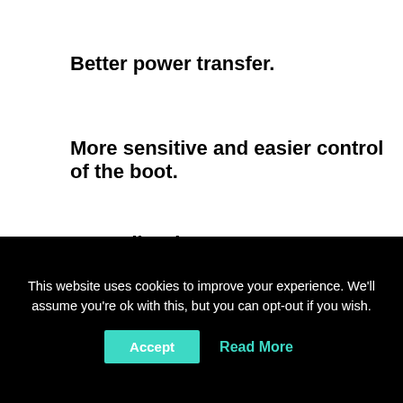Better power transfer.
More sensitive and easier control of the boot.
Less vibration.
[Figure (photo): Dark/black image area, partially visible product or scene photograph]
This website uses cookies to improve your experience. We'll assume you're ok with this, but you can opt-out if you wish.
Accept  Read More